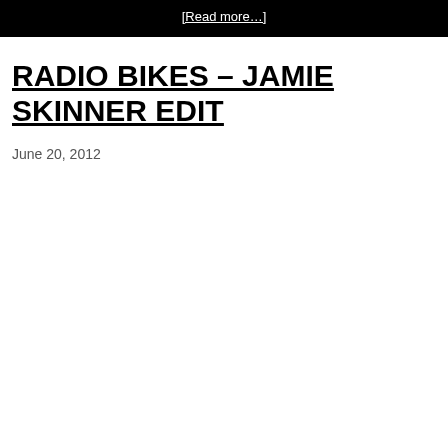[Read more...]
RADIO BIKES – JAMIE SKINNER EDIT
June 20, 2012